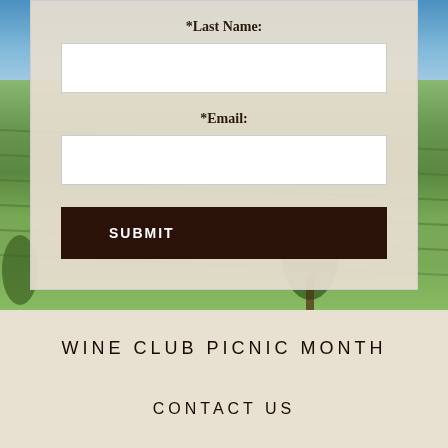[Figure (screenshot): Vineyard landscape photo background with blue sky and rows of green grapevines on rolling hills]
*Last Name:
*Email:
SUBMIT
WINE CLUB PICNIC MONTH
CONTACT US